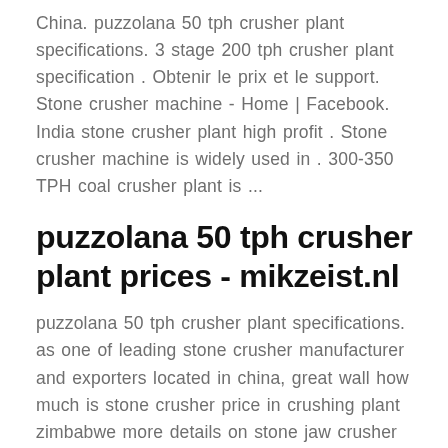China. puzzolana 50 tph crusher plant specifications. 3 stage 200 tph crusher plant specification . Obtenir le prix et le support. Stone crusher machine - Home | Facebook. India stone crusher plant high profit . Stone crusher machine is widely used in . 300-350 TPH coal crusher plant is ...
puzzolana 50 tph crusher plant prices - mikzeist.nl
puzzolana 50 tph crusher plant specifications. as one of leading stone crusher manufacturer and exporters located in china, great wall how much is stone crusher price in crushing plant zimbabwe more details on stone jaw crusher price and cone crusher specifications, what s the tph stone crushing line cost price what is puzzolana. or...